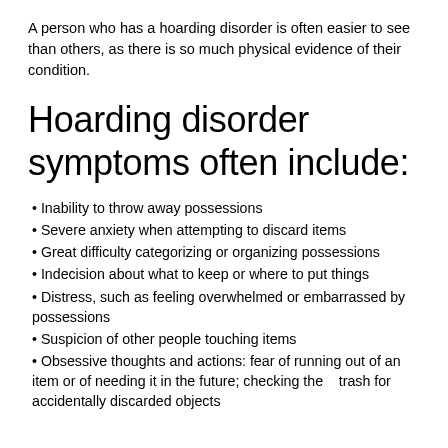A person who has a hoarding disorder is often easier to see than others, as there is so much physical evidence of their condition.
Hoarding disorder symptoms often include:
Inability to throw away possessions
Severe anxiety when attempting to discard items
Great difficulty categorizing or organizing possessions
Indecision about what to keep or where to put things
Distress, such as feeling overwhelmed or embarrassed by possessions
Suspicion of other people touching items
Obsessive thoughts and actions: fear of running out of an item or of needing it in the future; checking the   trash for accidentally discarded objects